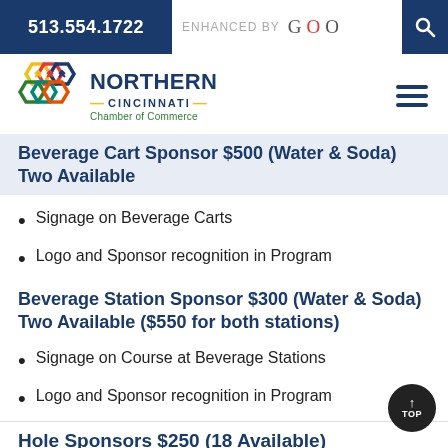513.554.1722
[Figure (logo): Northern Cincinnati Chamber of Commerce logo with colorful hexagons]
Beverage Cart Sponsor $500 (Water & Soda) Two Available
Signage on Beverage Carts
Logo and Sponsor recognition in Program
Beverage Station Sponsor $300 (Water & Soda) Two Available ($550 for both stations)
Signage on Course at Beverage Stations
Logo and Sponsor recognition in Program
Hole Sponsors $250 (18 Available)